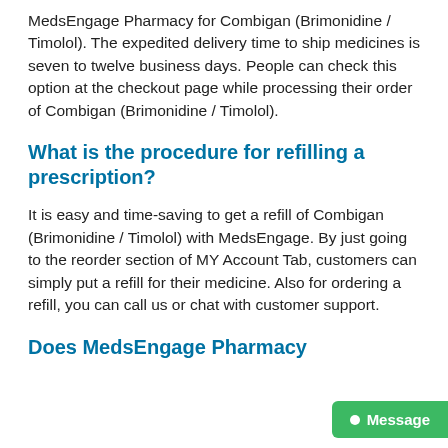MedsEngage Pharmacy for Combigan (Brimonidine / Timolol). The expedited delivery time to ship medicines is seven to twelve business days. People can check this option at the checkout page while processing their order of Combigan (Brimonidine / Timolol).
What is the procedure for refilling a prescription?
It is easy and time-saving to get a refill of Combigan (Brimonidine / Timolol) with MedsEngage. By just going to the reorder section of MY Account Tab, customers can simply put a refill for their medicine. Also for ordering a refill, you can call us or chat with customer support.
Does MedsEngage Pharmacy